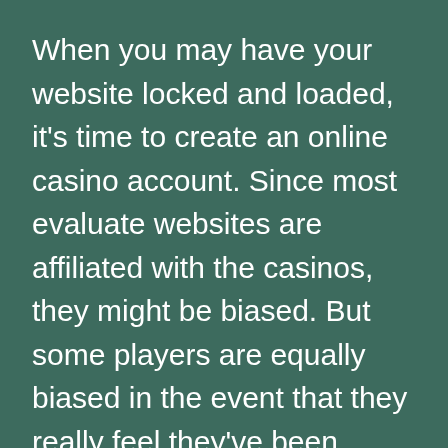When you may have your website locked and loaded, it's time to create an online casino account. Since most evaluate websites are affiliated with the casinos, they might be biased. But some players are equally biased in the event that they really feel they've been wronged. So, reading via many critiques can prevent money and time before you've spent anything. All the casinos really helpful by Gamble Online have Random Number Generator technology built into their video games. These RNGs ensure that the end result of any spin, roll or draw is completely